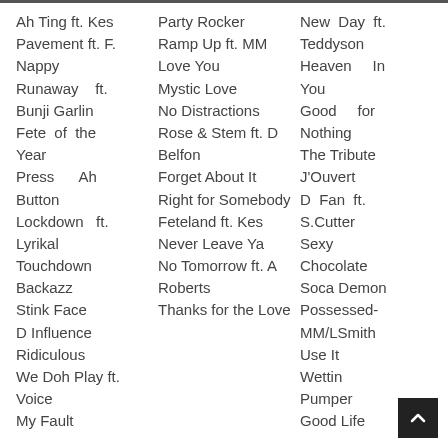Ah Ting ft. Kes
Pavement ft. F.
Nappy
Runaway ft.
Bunji Garlin
Fete of the Year
Press Ah Button
Lockdown ft. Lyrikal
Touchdown
Backazz
Stink Face
D Influence
Ridiculous
We Doh Play ft. Voice
My Fault
Party Rocker
Ramp Up ft. MM
Love You
Mystic Love
No Distractions
Rose & Stem ft. D Belfon
Forget About It
Right for Somebody
Feteland ft. Kes
Never Leave Ya
No Tomorrow ft. A Roberts
Thanks for the Love
New Day ft.
Teddyson
Heaven In You
Good for Nothing
The Tribute
J'Ouvert
D Fan ft. S.Cutter
Sexy
Chocolate
Soca Demon
Possessed-MM/LSmith
Use It
Wettin
Pumper
Good Life